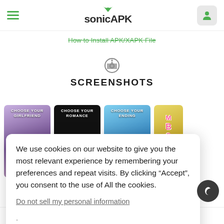sonicAPK
How to Install APK/XAPK File
SCREENSHOTS
[Figure (screenshot): Four cropped screenshots of a mobile game app showing 'Choose Your Girlfriend', 'Choose Your Romance', 'Choose Your Ending' and a partial colorful screen]
We use cookies on our website to give you the most relevant experience by remembering your preferences and repeat visits. By clicking “Accept”, you consent to the use of All the cookies.
Do not sell my personal information.
Description   Whats News   Help